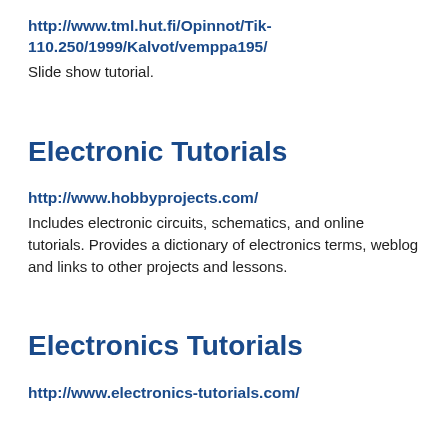http://www.tml.hut.fi/Opinnot/Tik-110.250/1999/Kalvot/vemppa195/
Slide show tutorial.
Electronic Tutorials
http://www.hobbyprojects.com/
Includes electronic circuits, schematics, and online tutorials. Provides a dictionary of electronics terms, weblog and links to other projects and lessons.
Electronics Tutorials
http://www.electronics-tutorials.com/